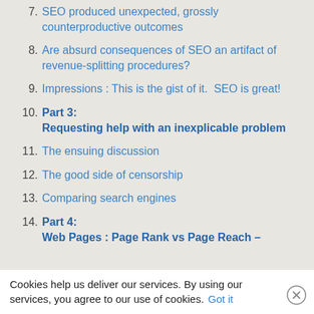7. SEO produced unexpected, grossly counterproductive outcomes
8. Are absurd consequences of SEO an artifact of revenue-splitting procedures?
9. Impressions : This is the gist of it.  SEO is great!
10. Part 3: Requesting help with an inexplicable problem
11. The ensuing discussion
12. The good side of censorship
13. Comparing search engines
14. Part 4: Web Pages : Page Rank vs Page Reach –
Cookies help us deliver our services. By using our services, you agree to our use of cookies. Got it